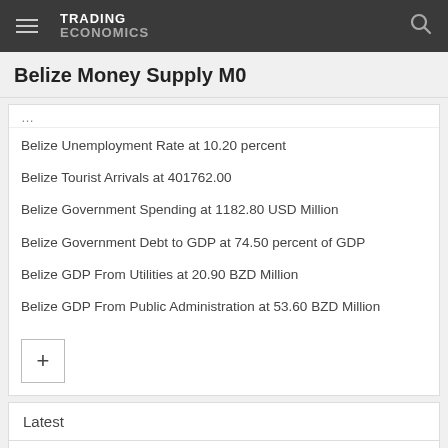TRADING ECONOMICS
Belize Money Supply M0
Belize Unemployment Rate at 10.20 percent
Belize Tourist Arrivals at 401762.00
Belize Government Spending at 1182.80 USD Million
Belize Government Debt to GDP at 74.50 percent of GDP
Belize GDP From Utilities at 20.90 BZD Million
Belize GDP From Public Administration at 53.60 BZD Million
Latest
UK Mortgage Lending Falls in July